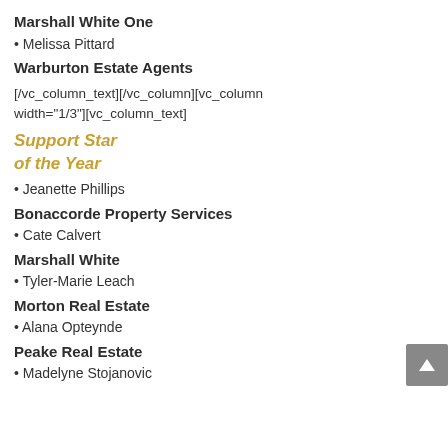Marshall White One
• Melissa Pittard
Warburton Estate Agents
[/vc_column_text][/vc_column][vc_column width="1/3"][vc_column_text]
Support Star of the Year
• Jeanette Phillips
Bonaccorde Property Services
• Cate Calvert
Marshall White
• Tyler-Marie Leach
Morton Real Estate
• Alana Opteynde
Peake Real Estate
• Madelyne Stojanovic